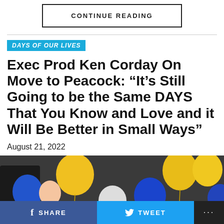CONTINUE READING
DAYS OF OUR LIVES
Exec Prod Ken Corday On Move to Peacock: “It’s Still Going to be the Same DAYS That You Know and Love and it Will Be Better in Small Ways”
August 21, 2022
[Figure (photo): Photo of balloons (yellow, blue, white) at what appears to be a celebration event]
SHARE   TWEET   ...